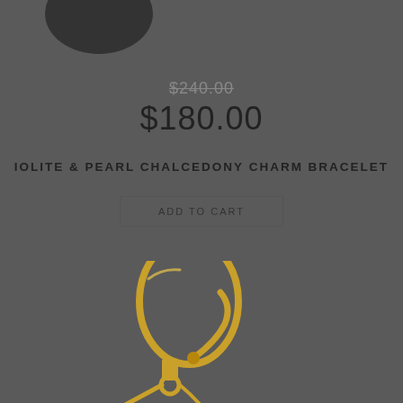[Figure (photo): Dark circle shape at top left, partial view of a logo or badge]
$240.00
$180.00
IOLITE & PEARL CHALCEDONY CHARM BRACELET
ADD TO CART
[Figure (photo): Close-up photo of a gold charm bracelet with clasp on dark grey background]